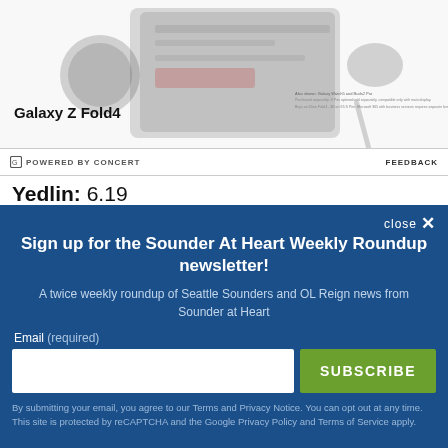[Figure (photo): Advertisement for Samsung Galaxy Z Fold4 showing smartphone, smartwatch, earbuds, and stylus on white background]
POWERED BY CONCERT   FEEDBACK
Yedlin: 6.19
close ×
Sign up for the Sounder At Heart Weekly Roundup newsletter!
A twice weekly roundup of Seattle Sounders and OL Reign news from Sounder at Heart
Email (required)
SUBSCRIBE
By submitting your email, you agree to our Terms and Privacy Notice. You can opt out at any time. This site is protected by reCAPTCHA and the Google Privacy Policy and Terms of Service apply.